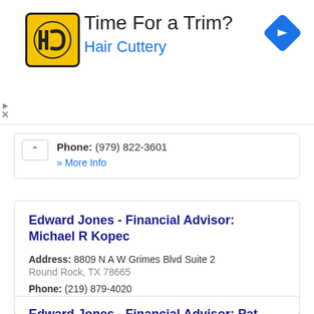[Figure (infographic): Hair Cuttery advertisement banner with HC logo, 'Time For a Trim?' headline, 'Hair Cuttery' subtext in blue, and a blue navigation diamond icon on the right. Play and X close controls on the left edge.]
Phone: (979) 822-3601
» More Info
Edward Jones - Financial Advisor: Michael R Kopec
Address: 8809 N A W Grimes Blvd Suite 2
Round Rock, TX 78665
Phone: (219) 879-4020
» More Info
Edward Jones - Financial Advisor: Pat